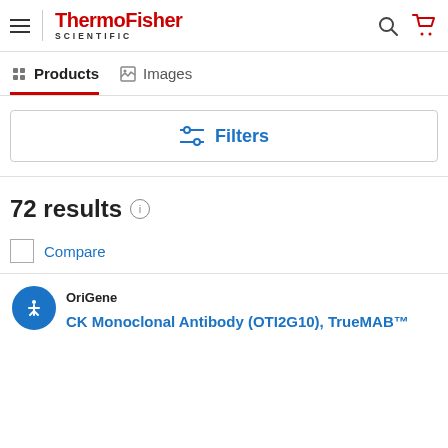ThermoFisher SCIENTIFIC
Products   Images
Filters
72 results
Compare
OriGene
CK Monoclonal Antibody (OTI2G10), TrueMAB™